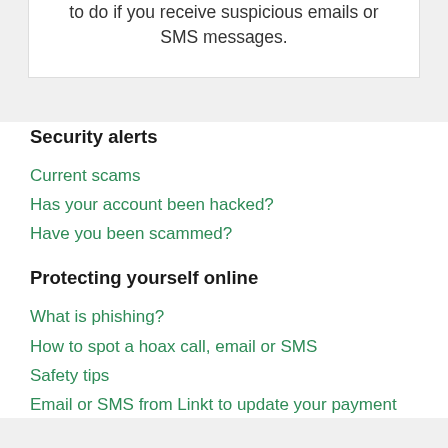to do if you receive suspicious emails or SMS messages.
Security alerts
Current scams
Has your account been hacked?
Have you been scammed?
Protecting yourself online
What is phishing?
How to spot a hoax call, email or SMS
Safety tips
Email or SMS from Linkt to update your payment